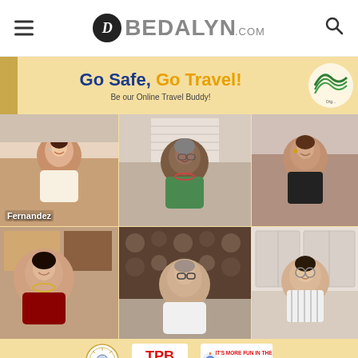BEDALYN.COM
[Figure (screenshot): Go Safe, Go Travel! - Be our Online Travel Buddy! banner with logo]
[Figure (screenshot): Video conference grid showing 6 participants including Fernandez in a Go Safe Go Travel online event]
[Figure (logo): Footer logos: Philippines government seal, TPB Philippines logo, It's More Fun in the Philippines logo]